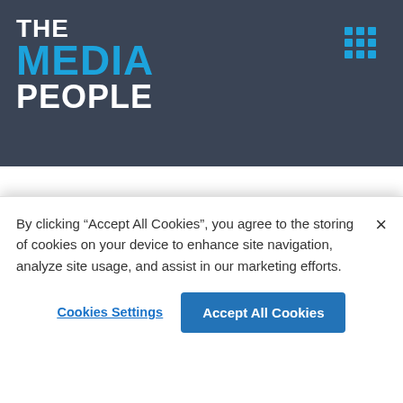[Figure (logo): The Media People logo — white bold 'THE' and 'PEOPLE' with blue bold 'MEDIA' on dark navy background, with a 3x3 blue dot grid icon in the top right]
TERMS & CONDITIONS
By clicking “Accept All Cookies”, you agree to the storing of cookies on your device to enhance site navigation, analyze site usage, and assist in our marketing efforts.
Cookies Settings
Accept All Cookies